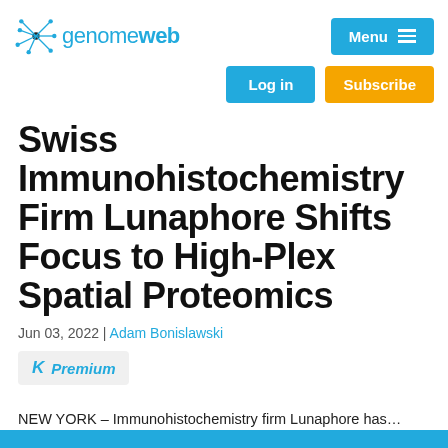genomeweb
Swiss Immunohistochemistry Firm Lunaphore Shifts Focus to High-Plex Spatial Proteomics
Jun 03, 2022 | Adam Bonislawski
Premium
NEW YORK – Immunohistochemistry firm Lunaphore has…